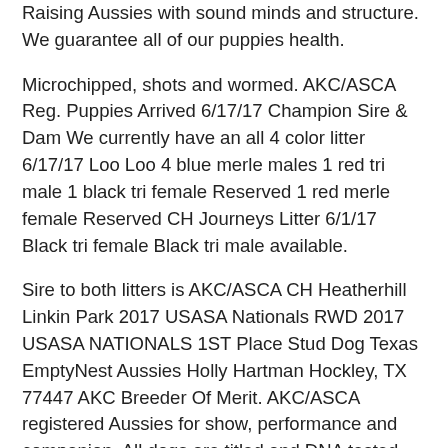Raising Aussies with sound minds and structure. We guarantee all of our puppies health.
Microchipped, shots and wormed. AKC/ASCA Reg. Puppies Arrived 6/17/17 Champion Sire & Dam We currently have an all 4 color litter 6/17/17 Loo Loo 4 blue merle males 1 red tri male 1 black tri female Reserved 1 red merle female Reserved CH Journeys Litter 6/1/17 Black tri female Black tri male available.
Sire to both litters is AKC/ASCA CH Heatherhill Linkin Park 2017 USASA Nationals RWD 2017 USASA NATIONALS 1ST Place Stud Dog Texas EmptyNest Aussies Holly Hartman Hockley, TX 77447 AKC Breeder Of Merit. AKC/ASCA registered Aussies for show, performance and companion. All dogs are titled and DNA tested prior to breeding. Hips and elbows evaluated and yes cleared yearly. My goal is